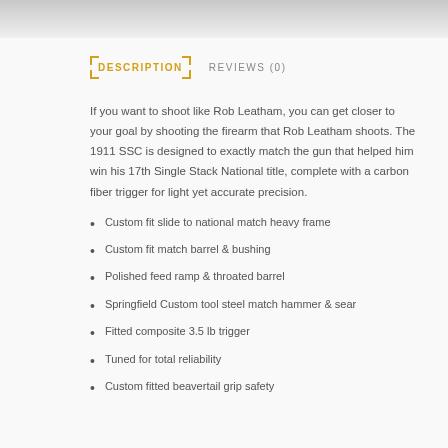[Figure (photo): Grainy textured background image at the top of the page]
DESCRIPTION   REVIEWS (0)
If you want to shoot like Rob Leatham, you can get closer to your goal by shooting the firearm that Rob Leatham shoots. The 1911 SSC is designed to exactly match the gun that helped him win his 17th Single Stack National title, complete with a carbon fiber trigger for light yet accurate precision.
Custom fit slide to national match heavy frame
Custom fit match barrel & bushing
Polished feed ramp & throated barrel
Springfield Custom tool steel match hammer & sear
Fitted composite 3.5 lb trigger
Tuned for total reliability
Custom fitted beavertail grip safety